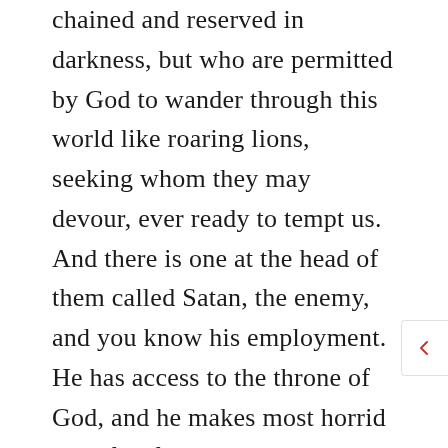chained and reserved in darkness, but who are permitted by God to wander through this world like roaring lions, seeking whom they may devour, ever ready to tempt us. And there is one at the head of them called Satan, the enemy, and you know his employment. He has access to the throne of God, and he makes most horrid use of it, for he accuses us day and night before the throne. The accuser of the brethren is not yet cast down—that is to be in the great day of the triumph of the Son of Man; but as Jesus stands our Advocate before the